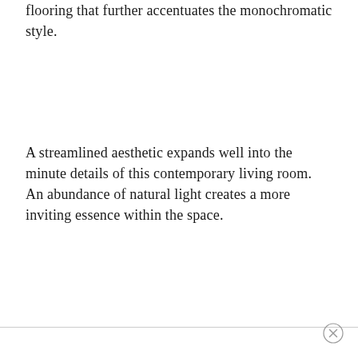dreamy living space. Here the chic concrete flooring that further accentuates the monochromatic style.
A streamlined aesthetic expands well into the minute details of this contemporary living room. An abundance of natural light creates a more inviting essence within the space.